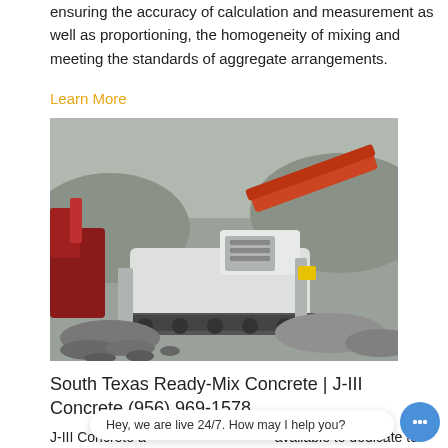ensuring the accuracy of calculation and measurement as well as proportioning, the homogeneity of mixing and meeting the standards of aggregate arrangements.
Learn More
[Figure (photo): A large white mobile rock crushing machine operating in a gravel quarry, surrounded by piles of crushed stone and a red excavator on the left.]
South Texas Ready-Mix Concrete | J-III Concrete (956) 969-1578
J-III Concrete a... available to dedicate to individual large projects. In order
Hey, we are live 24/7. How may I help you?